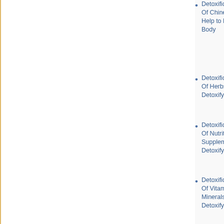Detoxification -Types Of Chinese Herbs Help to Detoxify Your Body
Detoxification -Types Of Herbs Help to Detoxify Your Body
Detoxification -Types Of Nutritional Supplements Help Detoxify Your Body
Detoxification -Types Of Vitamins & Minerals Help to Detoxify Your Body
Diagnostic Culdocentesis
Diagnostic Sonography
Ednometriosis and Apricot
Ednometriosis and Brewer's Yeast
Ednometriosis and Brocoli